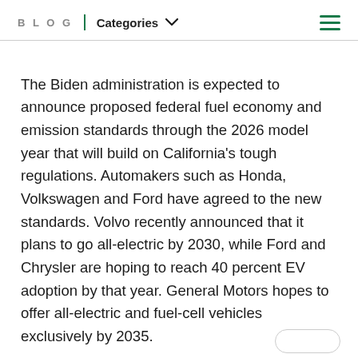BLOG | Categories
The Biden administration is expected to announce proposed federal fuel economy and emission standards through the 2026 model year that will build on California's tough regulations. Automakers such as Honda, Volkswagen and Ford have agreed to the new standards. Volvo recently announced that it plans to go all-electric by 2030, while Ford and Chrysler are hoping to reach 40 percent EV adoption by that year. General Motors hopes to offer all-electric and fuel-cell vehicles exclusively by 2035.